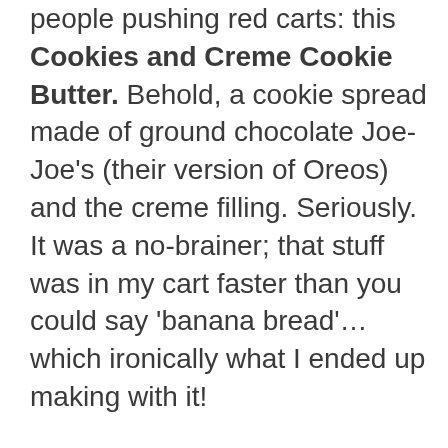people pushing red carts: this Cookies and Creme Cookie Butter. Behold, a cookie spread made of ground chocolate Joe-Joe's (their version of Oreos) and the creme filling. Seriously. It was a no-brainer; that stuff was in my cart faster than you could say 'banana bread'… which ironically what I ended up making with it!